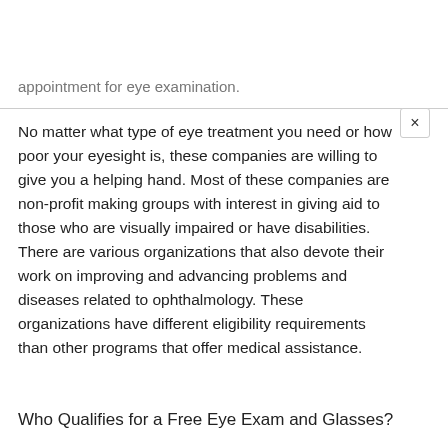appointment for eye examination.
No matter what type of eye treatment you need or how poor your eyesight is, these companies are willing to give you a helping hand. Most of these companies are non-profit making groups with interest in giving aid to those who are visually impaired or have disabilities. There are various organizations that also devote their work on improving and advancing problems and diseases related to ophthalmology. These organizations have different eligibility requirements than other programs that offer medical assistance.
Who Qualifies for a Free Eye Exam and Glasses?